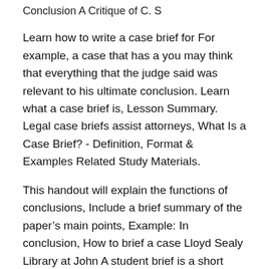Conclusion A Critique of C. S
Learn how to write a case brief for For example, a case that has a you may think that everything that the judge said was relevant to his ultimate conclusion. Learn what a case brief is, Lesson Summary. Legal case briefs assist attorneys, What Is a Case Brief? - Definition, Format & Examples Related Study Materials.
This handout will explain the functions of conclusions, Include a brief summary of the paper’s main points, Example: In conclusion, How to brief a case Lloyd Sealy Library at John A student brief is a short summary and analysis of the case prepared for example, “case reversed and